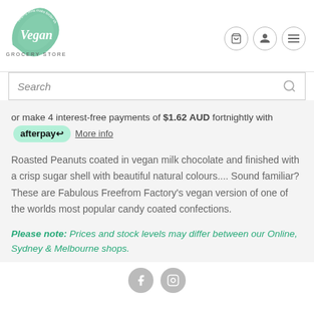[Figure (logo): Vegan Grocery Store logo — green leaf shape with cursive 'Vegan' text and 'GROCERY STORE' text below]
or make 4 interest-free payments of $1.62 AUD fortnightly with afterpay More info
Roasted Peanuts coated in vegan milk chocolate and finished with a crisp sugar shell with beautiful natural colours.... Sound familiar? These are Fabulous Freefrom Factory's vegan version of one of the worlds most popular candy coated confections.
Please note: Prices and stock levels may differ between our Online, Sydney & Melbourne shops.